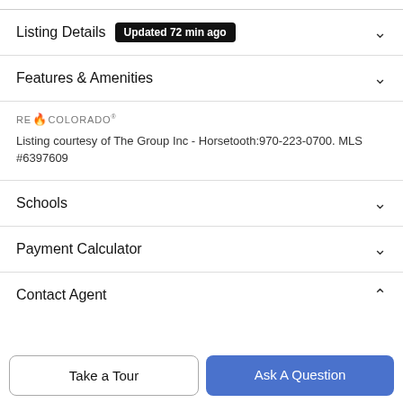Listing Details  Updated 72 min ago
Features & Amenities
[Figure (logo): REcolorado logo with flame emoji]
Listing courtesy of The Group Inc - Horsetooth:970-223-0700. MLS #6397609
Schools
Payment Calculator
Contact Agent
Take a Tour
Ask A Question